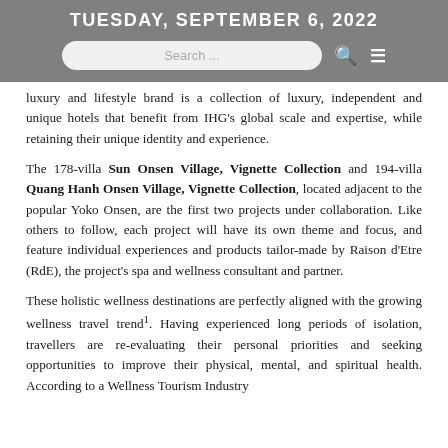TUESDAY, SEPTEMBER 6, 2022
luxury and lifestyle brand is a collection of luxury, independent and unique hotels that benefit from IHG's global scale and expertise, while retaining their unique identity and experience.
The 178-villa Sun Onsen Village, Vignette Collection and 194-villa Quang Hanh Onsen Village, Vignette Collection, located adjacent to the popular Yoko Onsen, are the first two projects under collaboration. Like others to follow, each project will have its own theme and focus, and feature individual experiences and products tailor-made by Raison d'Etre (RdE), the project's spa and wellness consultant and partner.
These holistic wellness destinations are perfectly aligned with the growing wellness travel trend1. Having experienced long periods of isolation, travellers are re-evaluating their personal priorities and seeking opportunities to improve their physical, mental, and spiritual health. According to a Wellness Tourism Industry